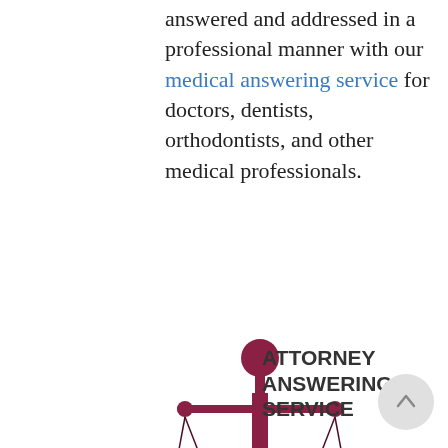answered and addressed in a professional manner with our medical answering service for doctors, dentists, orthodontists, and other medical professionals.
[Figure (illustration): A stylized illustration of a scales of justice icon in dark red/crimson color, with a figure at the top of the balance beam.]
ATTORNEY ANSWERING SERVICE
Our legal answering services for attorneys and lawyers helps legal firms handle all their customer phone calls without having to hire a team of front office staff to answer the phones.